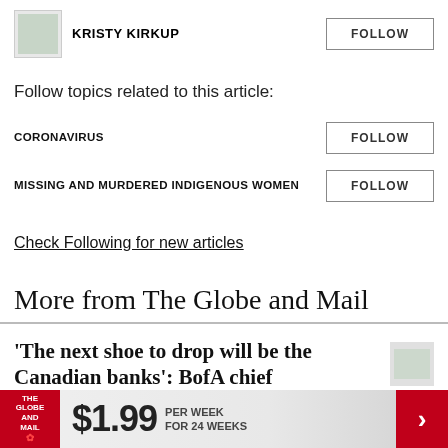KRISTY KIRKUP
Follow topics related to this article:
CORONAVIRUS
MISSING AND MURDERED INDIGENOUS WOMEN
Check Following for new articles
More from The Globe and Mail
'The next shoe to drop will be the Canadian banks': BofA chief
$1.99 PER WEEK FOR 24 WEEKS